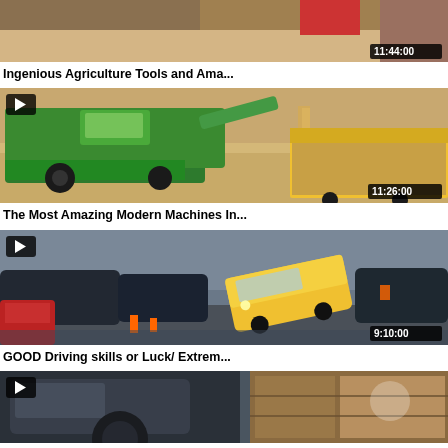[Figure (screenshot): Partial video thumbnail at top showing agricultural scene with duration 11:44:00]
Ingenious Agriculture Tools and Ama...
[Figure (screenshot): Video thumbnail showing green John Deere combine harvester unloading grain into yellow trailer, aerial view, duration 11:26:00]
The Most Amazing Modern Machines In...
[Figure (screenshot): Video thumbnail showing yellow semi truck cab tilted sideways next to dark railroad tanker cars, duration 9:10:00]
GOOD Driving skills or Luck/ Extrem...
[Figure (screenshot): Partial video thumbnail showing dark green truck cab close-up on left and wooden crate on right, partially cut off]